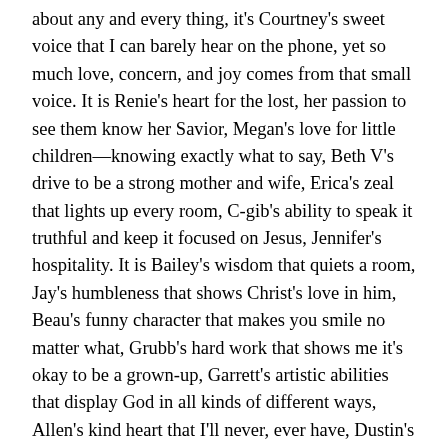about any and every thing, it's Courtney's sweet voice that I can barely hear on the phone, yet so much love, concern, and joy comes from that small voice. It is Renie's heart for the lost, her passion to see them know her Savior, Megan's love for little children—knowing exactly what to say, Beth V's drive to be a strong mother and wife, Erica's zeal that lights up every room, C-gib's ability to speak it truthful and keep it focused on Jesus, Jennifer's hospitality. It is Bailey's wisdom that quiets a room, Jay's humbleness that shows Christ's love in him, Beau's funny character that makes you smile no matter what, Grubb's hard work that shows me it's okay to be a grown-up, Garrett's artistic abilities that display God in all kinds of different ways, Allen's kind heart that I'll never, ever have, Dustin's way of encouraging everyone to do what God's called them and helping them to accomplish their goals...My friends have Christ leading their life...they know the Kingdom.